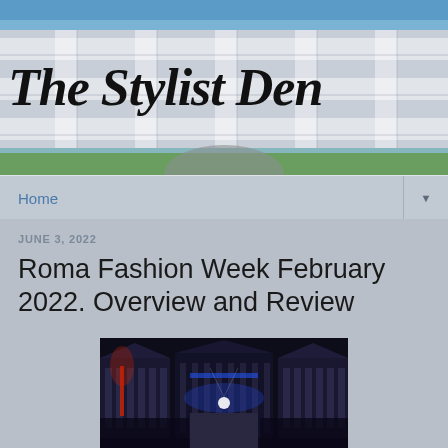[Figure (illustration): The Stylist Den blog header banner with plaid/tartan pattern background in blue-grey tones and landscape photo strip at bottom]
The Stylist Den
Home
JUNE 3, 2022
Roma Fashion Week February 2022. Overview and Review
[Figure (photo): Nighttime fashion show at a grand neoclassical building with illuminated columns, runway with audience on both sides, blue and red lighting effects]